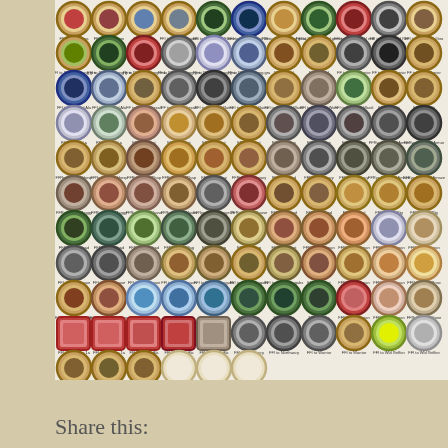[Figure (illustration): A large grid of circular token/medallion icons representing fantasy game creatures and characters. Each medallion has a decorative border (gold/brown/red) and contains a colored illustration of a creature (dragons, warriors, monsters, horses, etc.). Below each medallion is a small text label. The grid is approximately 11 columns wide and 11 rows tall. The last row has only 6 filled medallions, with 3 empty/blank circles at the end. Background is a cream/light beige.]
Share this: